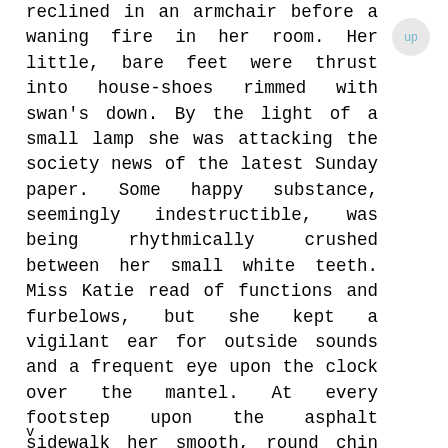reclined in an armchair before a waning fire in her room. Her little, bare feet were thrust into house-shoes rimmed with swan's down. By the light of a small lamp she was attacking the society news of the latest Sunday paper. Some happy substance, seemingly indestructible, was being rhythmically crushed between her small white teeth. Miss Katie read of functions and furbelows, but she kept a vigilant ear for outside sounds and a frequent eye upon the clock over the mantel. At every footstep upon the asphalt sidewalk her smooth, round chin would cease for a moment its regular rise and fall, and a frown of listening would pucker her pretty brows.

At last she heard the latch of the iron
v